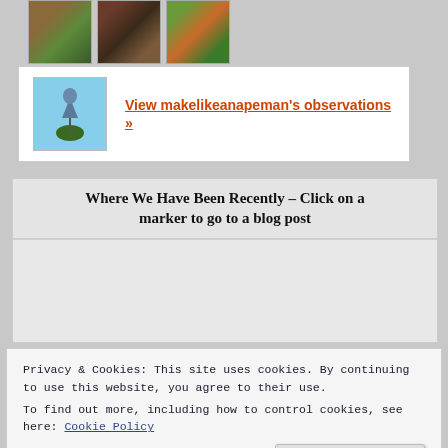[Figure (photo): Three small thumbnail photos of mushrooms/plants/flowers]
[Figure (photo): Profile card with bird avatar photo and link to makelikeanapeman's observations]
View makelikeanapeman's observations »
Where We Have Been Recently – Click on a marker to go to a blog post
[Figure (map): Interactive map area showing recent locations]
Privacy & Cookies: This site uses cookies. By continuing to use this website, you agree to their use.
To find out more, including how to control cookies, see here: Cookie Policy
Close and accept